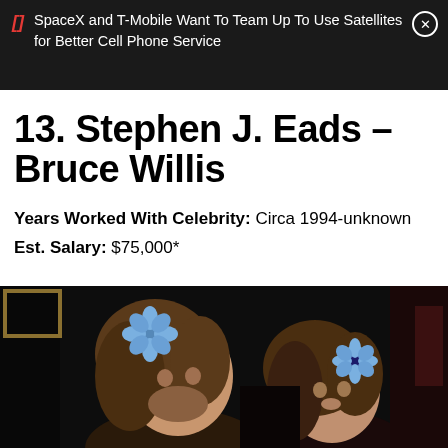SpaceX and T-Mobile Want To Team Up To Use Satellites for Better Cell Phone Service
13. Stephen J. Eads – Bruce Willis
Years Worked With Celebrity: Circa 1994-unknown
Est. Salary: $75,000*
[Figure (photo): Two people with long brown hair and blue flower hair accessories photographed together in a dark setting]